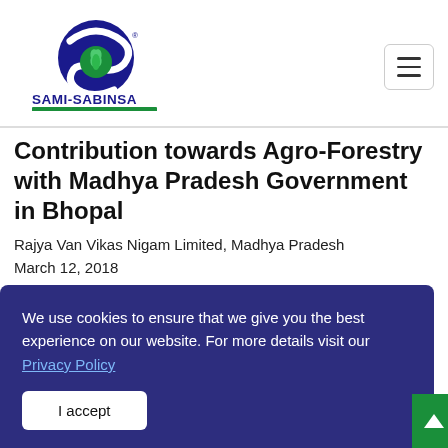[Figure (logo): Sami-Sabinsa Group logo: circular blue S-shape with green plant leaves, text SAMI-SABINSA in dark blue, GROUP in white on green banner]
Contribution towards Agro-Forestry with Madhya Pradesh Government in Bhopal
Rajya Van Vikas Nigam Limited, Madhya Pradesh
March 12, 2018
We use cookies to ensure that we give you the best experience on our website. For more details visit our Privacy Policy
I accept